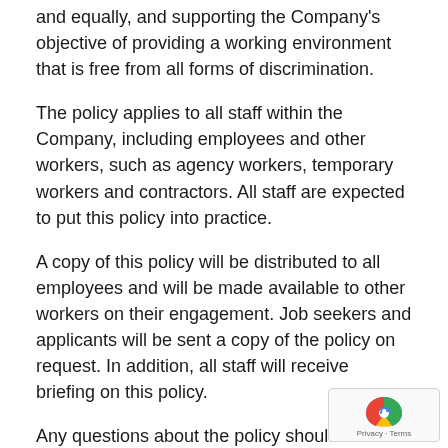and equally, and supporting the Company's objective of providing a working environment that is free from all forms of discrimination.
The policy applies to all staff within the Company, including employees and other workers, such as agency workers, temporary workers and contractors. All staff are expected to put this policy into practice.
A copy of this policy will be distributed to all employees and will be made available to other workers on their engagement. Job seekers and applicants will be sent a copy of the policy on request. In addition, all staff will receive briefing on this policy.
Any questions about the policy should be directed to the Managing Director.
This policy does not form part of employees' con of employment and the Company may amend it at any